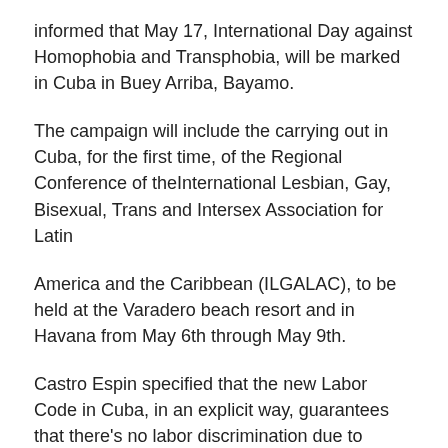informed that May 17, International Day against Homophobia and Transphobia, will be marked in Cuba in Buey Arriba, Bayamo.
The campaign will include the carrying out in Cuba, for the first time, of the Regional Conference of theInternational Lesbian, Gay, Bisexual, Trans and Intersex Association for Latin
America and the Caribbean (ILGALAC), to be held at the Varadero beach resort and in Havana from May 6th through May 9th.
Castro Espin specified that the new Labor Code in Cuba, in an explicit way, guarantees that there's no labor discrimination due to sexual orientation and gender identity.